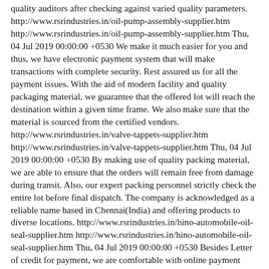quality auditors after checking against varied quality parameters. http://www.rsrindustries.in/oil-pump-assembly-supplier.htm http://www.rsrindustries.in/oil-pump-assembly-supplier.htm Thu, 04 Jul 2019 00:00:00 +0530 We make it much easier for you and thus, we have electronic payment system that will make transactions with complete security. Rest assured us for all the payment issues. With the aid of modern facility and quality packaging material, we guarantee that the offered lot will reach the destination within a given time frame. We also make sure that the material is sourced from the certified vendors. http://www.rsrindustries.in/valve-tappets-supplier.htm http://www.rsrindustries.in/valve-tappets-supplier.htm Thu, 04 Jul 2019 00:00:00 +0530 By making use of quality packing material, we are able to ensure that the orders will remain free from damage during transit. Also, our expert packing personnel strictly check the entire lot before final dispatch. The company is acknowledged as a reliable name based in Chennai(India) and offering products to diverse locations. http://www.rsrindustries.in/hino-automobile-oil-seal-supplier.htm http://www.rsrindustries.in/hino-automobile-oil-seal-supplier.htm Thu, 04 Jul 2019 00:00:00 +0530 Besides Letter of credit for payment, we are comfortable with online payment options and other offline methods. Buyers can choose an option best suited for them and make payment accordingly. We are committed towards providing the world-class lot of products thus, check each and every product on different levels. http://www.rsrindustries.in/...